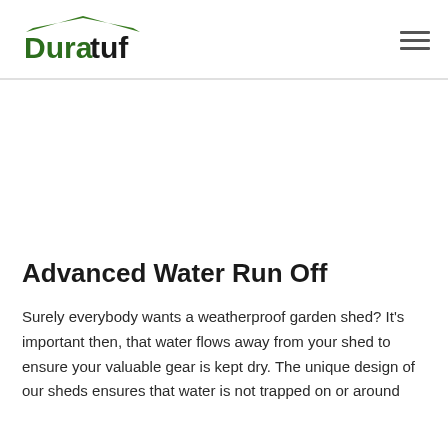Duratuf
Advanced Water Run Off
Surely everybody wants a weatherproof garden shed? It's important then, that water flows away from your shed to ensure your valuable gear is kept dry. The unique design of our sheds ensures that water is not trapped on or around